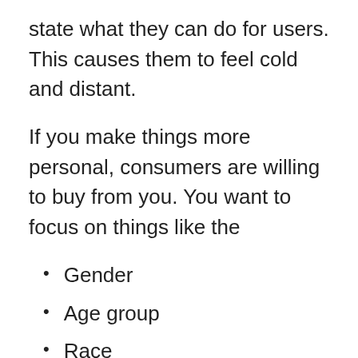state what they can do for users. This causes them to feel cold and distant.
If you make things more personal, consumers are willing to buy from you. You want to focus on things like the
Gender
Age group
Race
Spending patterns
These areas increase the odds that you will see high conversion rates. The more you personalize things, the greater return you will see with your online marketing.